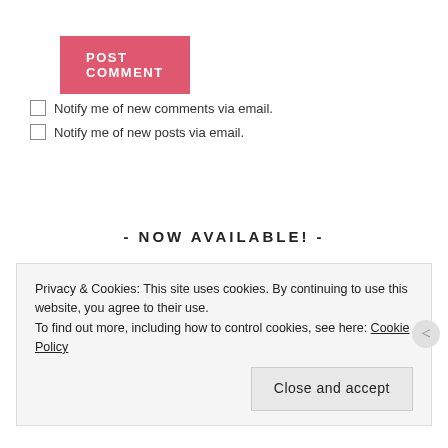POST COMMENT
Notify me of new comments via email.
Notify me of new posts via email.
- NOW AVAILABLE! -
[Figure (illustration): Blue background with a yellow cartoon chick character peeking up from the bottom, with a visible eye dot.]
Privacy & Cookies: This site uses cookies. By continuing to use this website, you agree to their use.
To find out more, including how to control cookies, see here: Cookie Policy
Close and accept